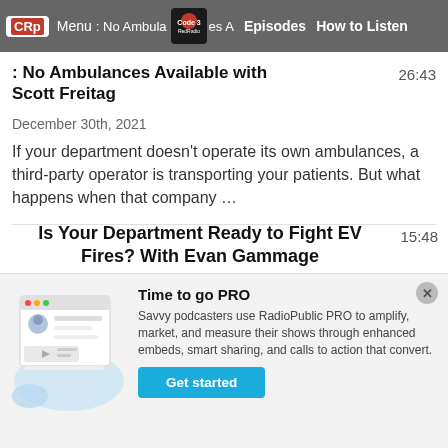CRp | Menu | No Ambulances Available with Scott Freitag | Episodes | How to Listen | 26:43
No Ambulances Available with Scott Freitag
26:43
December 30th, 2021
If your department doesn't operate its own ambulances, a third-party operator is transporting your patients. But what happens when that company ...
Is Your Department Ready to Fight EV Fires? With Evan Gammage
15:48
December 23rd, 2021
Today, we're talking electric vehicles. If you live in Los
[Figure (illustration): RadioPublic PRO promotional illustration showing a browser/podcast interface mockup with a person avatar and a play button]
Time to go PRO
Savvy podcasters use RadioPublic PRO to amplify, market, and measure their shows through enhanced embeds, smart sharing, and calls to action that convert.
Get started